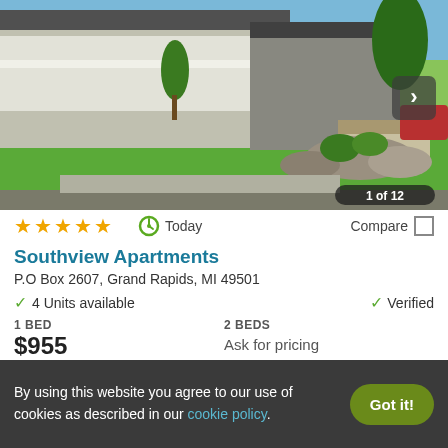[Figure (photo): Exterior photo of Southview Apartments showing building facade with white/gray siding, green lawn, trees, and landscaping. Photo counter shows 1 of 12.]
★★★★★
Today
Compare
Southview Apartments
P.O Box 2607, Grand Rapids, MI 49501
4 Units available
Verified
1 BED
$955
2 BEDS
Ask for pricing
View Details
Contact Property
By using this website you agree to our use of cookies as described in our cookie policy.
Got it!